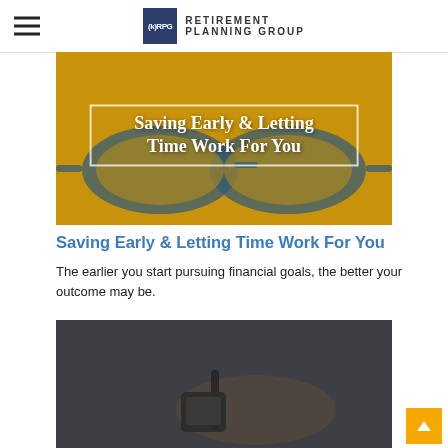(k)RPG Retirement Planning Group
[Figure (photo): Hero image with sunglasses on yellow background and overlaid white serif text reading 'Saving Early & Letting Time Work For You' with a white border rectangle]
Saving Early & Letting Time Work For You
The earlier you start pursuing financial goals, the better your outcome may be.
[Figure (photo): Photo of hands holding a pen over a digital device, dark toned image]